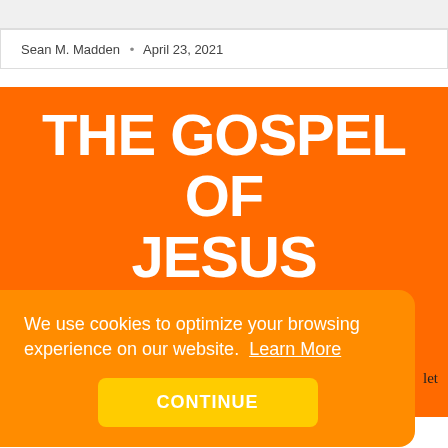Sean M. Madden  •  April 23, 2021
THE GOSPEL OF JESUS CHRIST, IN BRIEF
We use cookies to optimize your browsing experience on our website. Learn More
CONTINUE
let
they are led by wolves. So simple, in fact, that you